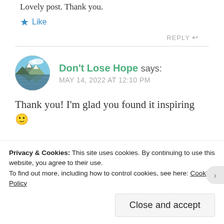Lovely post. Thank you.
★ Like
REPLY ↩
Don't Lose Hope says:
MAY 14, 2022 AT 12:10 PM
Thank you! I'm glad you found it inspiring 🙂
Privacy & Cookies: This site uses cookies. By continuing to use this website, you agree to their use.
To find out more, including how to control cookies, see here: Cookie Policy
Close and accept